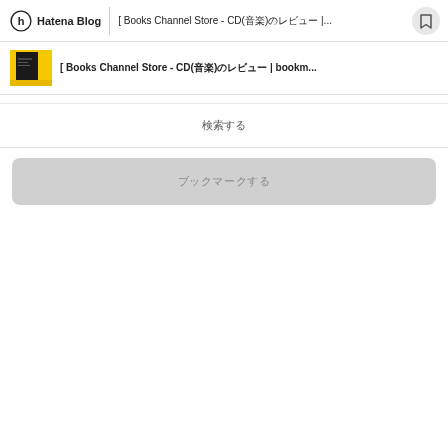Hatena Blog | [ Books Channel Store - CD(音楽)のレビュー |...
[Figure (screenshot): Thumbnail image of a book/CD cover with dark and yellow colors]
[ Books Channel Store - CD(音楽)のレビュー | bookm...
検索する
ブックマークする